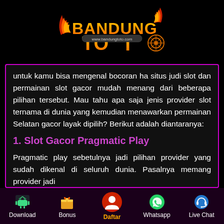[Figure (logo): Bandung Toto logo with flame and dart/target icons, orange and yellow gradient text on black background, URL www.bandungtoto.com]
untuk kamu bisa mengenal bocoran ha situs judi slot dan permainan slot gacor mudah menang dari beberapa pilihan tersebut. Mau tahu apa saja jenis provider slot ternama di dunia yang kemudian menawarkan permainan Selatan gacor layak dipilih? Berikut adalah diantaranya:
1. Slot Gacor Pragmatic Play
Pragmatic play sebetulnya jadi pilihan provider yang sudah dikenal di seluruh dunia. Pasalnya memang provider jadi
Download   Bonus   Daftar   Whatsapp   Live Chat